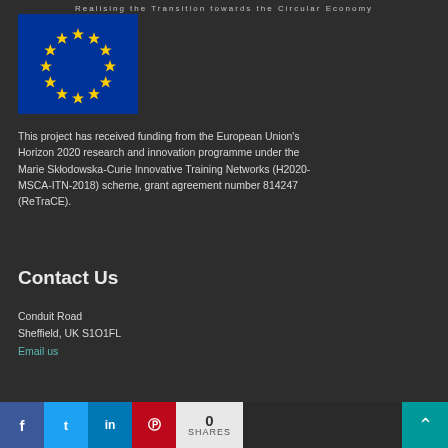Realising the Transition towards the Circular Economy
[Figure (illustration): European Union flag — blue rectangle with a circle of 12 gold stars on a dark blue background]
This project has received funding from the European Union's Horizon 2020 research and innovation programme under the Marie Skłodowska-Curie Innovative Training Networks (H2020-MSCA-ITN-2018) scheme, grant agreement number 814247 (ReTraCE).
Contact Us
Conduit Road
Sheffield, UK S1O1FL
Email us
[Figure (infographic): Social media sharing bar with Facebook, Twitter, LinkedIn, Pinterest buttons and a share count showing 0 SHARES, plus a teal scroll-to-top button]